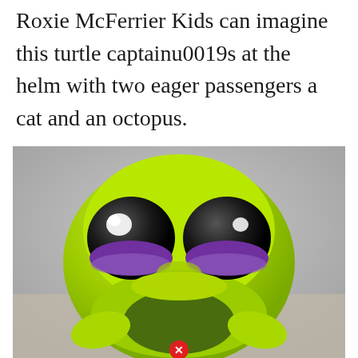Roxie McFerrier Kids can imagine this turtle captainu0019s at the helm with two eager passengers a cat and an octopus.
[Figure (photo): Close-up photograph of a Littlest Pet Shop (LPS) toy turtle figurine with bright green plastic body, oversized black eyes with purple lower half and white highlight spots, facing forward. A small red circle with white X icon appears at the bottom center of the image. Background is light grey/beige.]